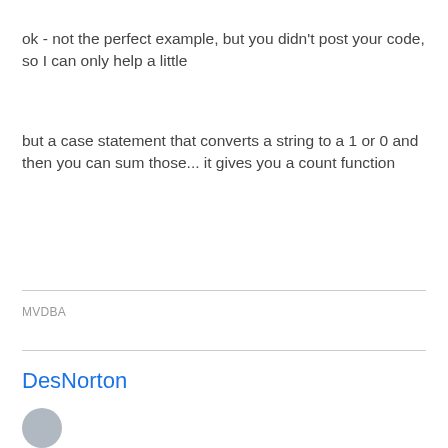ok - not the perfect example, but you didn't post your code, so I can only help a little
but a case statement that converts a string to a 1 or 0 and then you can sum those... it gives you a count function
MVDBA
DesNorton